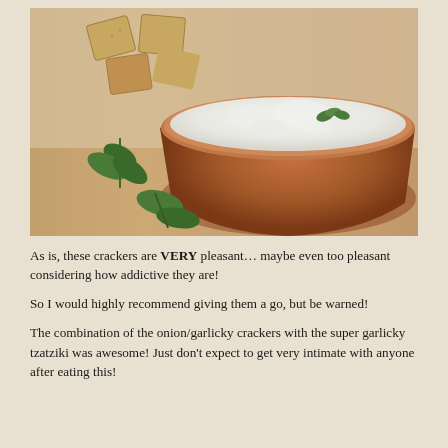[Figure (photo): A terracotta bowl filled with tzatziki dip garnished with fresh mint leaves, placed on a wooden cutting board surrounded by square crackers and mint sprigs.]
As is, these crackers are VERY pleasant… maybe even too pleasant considering how addictive they are!
So I would highly recommend giving them a go, but be warned!
The combination of the onion/garlicky crackers with the super garlicky tzatziki was awesome! Just don't expect to get very intimate with anyone after eating this!